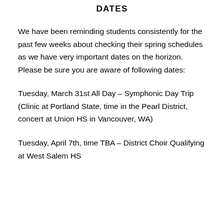DATES
We have been reminding students consistently for the past few weeks about checking their spring schedules as we have very important dates on the horizon. Please be sure you are aware of following dates:
Tuesday, March 31st All Day – Symphonic Day Trip (Clinic at Portland State, time in the Pearl District, concert at Union HS in Vancouver, WA)
Tuesday, April 7th, time TBA – District Choir Qualifying at West Salem HS